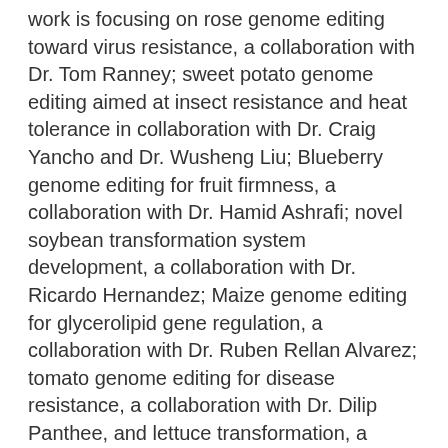work is focusing on rose genome editing toward virus resistance, a collaboration with Dr. Tom Ranney; sweet potato genome editing aimed at insect resistance and heat tolerance in collaboration with Dr. Craig Yancho and Dr. Wusheng Liu; Blueberry genome editing for fruit firmness, a collaboration with Dr. Hamid Ashrafi; novel soybean transformation system development, a collaboration with Dr. Ricardo Hernandez; Maize genome editing for glycerolipid gene regulation, a collaboration with Dr. Ruben Rellan Alvarez; tomato genome editing for disease resistance, a collaboration with Dr. Dilip Panthee, and lettuce transformation, a collaboration with Dr. Wusheng Liu. My lab also carries out Arabidopsis and Peanut transformation contracts for industry partners.